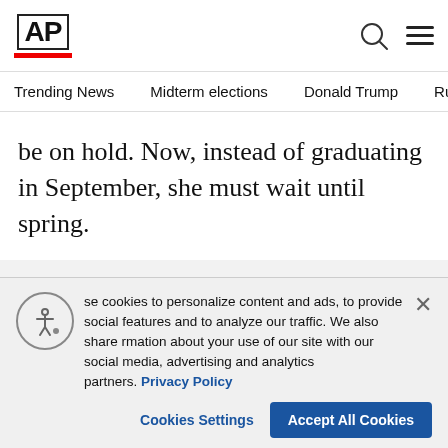AP
Trending News  Midterm elections  Donald Trump  Russia-Ukr
be on hold. Now, instead of graduating in September, she must wait until spring.
ADVERTISEMENT
[Figure (screenshot): Video thumbnail strip showing a partially visible person with a red progress bar, with close button]
se cookies to personalize content and ads, to provide social features and to analyze our traffic. We also share rmation about your use of our site with our social media, advertising and analytics partners. Privacy Policy
Cookies Settings   Accept All Cookies